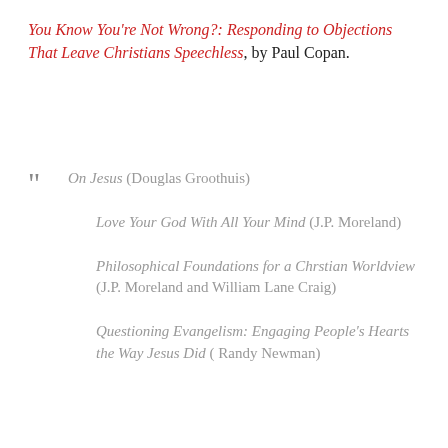You Know You're Not Wrong?: Responding to Objections That Leave Christians Speechless, by Paul Copan.
On Jesus (Douglas Groothuis)
Love Your God With All Your Mind (J.P. Moreland)
Philosophical Foundations for a Chrstian Worldview (J.P. Moreland and William Lane Craig)
Questioning Evangelism: Engaging People's Hearts the Way Jesus Did (Randy Newman)